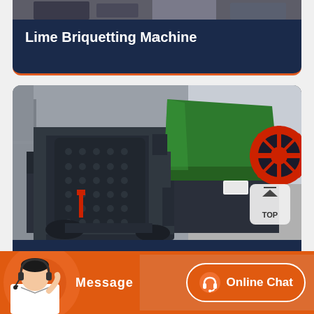[Figure (photo): Top of a Lime Briquetting Machine card, partially visible at the top of the page]
Lime Briquetting Machine
[Figure (photo): Photo of an industrial Dry Powder Briquetting Machine — large dark metal roller press with green hopper and red accent parts, shown in an industrial setting]
Dry Powder Briquetting Machine
[Figure (photo): Bottom bar showing a customer service operator with headset on orange background, with Message and Online Chat buttons]